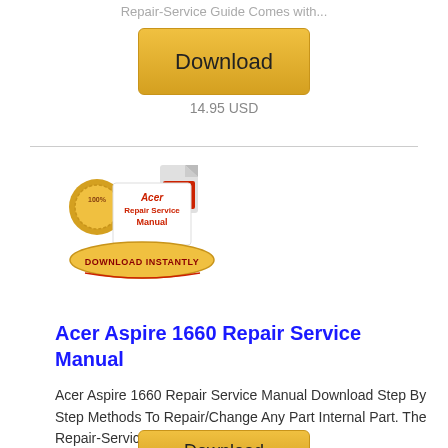Repair-Service Guide Comes with...
[Figure (other): Gold Download button with gradient background]
14.95 USD
[Figure (logo): Acer Repair Service Manual product image with gold seal, PDF icon, and Download Instantly banner]
Acer Aspire 1660 Repair Service Manual
Acer Aspire 1660 Repair Service Manual Download Step By Step Methods To Repair/Change Any Part Internal Part. The Repair-Service Guide Comes with...
[Figure (other): Gold Download button partially visible at bottom]